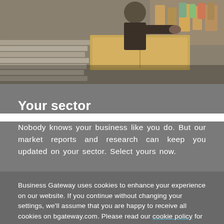[Figure (photo): Workshop scene showing a person working with wooden materials and supplies on a workbench]
Your sector
Nobody knows your business like you do. But our market reports and research can keep you updated on your sector. Select yours now.
Business Gateway uses cookies to enhance your experience on our website. If you continue without changing your settings, we'll assume that you are happy to receive all cookies on bgateway.com. Please read our cookie policy for more information.
Accept & Close